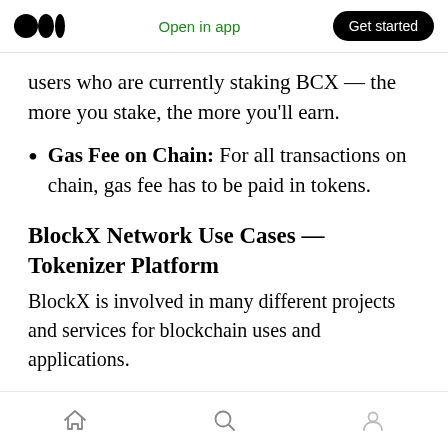Medium logo | Open in app | Get started
users who are currently staking BCX — the more you stake, the more you'll earn.
Gas Fee on Chain: For all transactions on chain, gas fee has to be paid in tokens.
BlockX Network Use Cases — Tokenizer Platform
BlockX is involved in many different projects and services for blockchain uses and applications.
Tokenizer is a blockchain investment banking system that champions accessible,
Home | Search | Profile